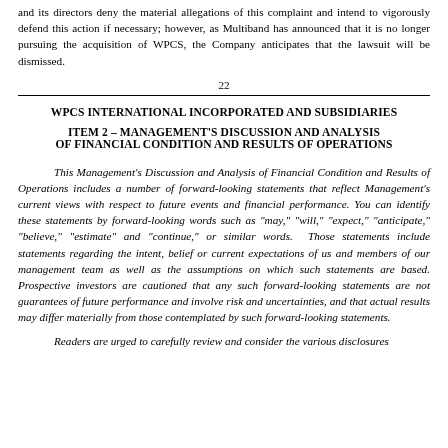and its directors deny the material allegations of this complaint and intend to vigorously defend this action if necessary; however, as Multiband has announced that it is no longer pursuing the acquisition of WPCS, the Company anticipates that the lawsuit will be dismissed.
22
WPCS INTERNATIONAL INCORPORATED AND SUBSIDIARIES
ITEM 2 – MANAGEMENT'S DISCUSSION AND ANALYSIS OF FINANCIAL CONDITION AND RESULTS OF OPERATIONS
This Management's Discussion and Analysis of Financial Condition and Results of Operations includes a number of forward-looking statements that reflect Management's current views with respect to future events and financial performance. You can identify these statements by forward-looking words such as "may," "will," "expect," "anticipate," "believe," "estimate" and "continue," or similar words. Those statements include statements regarding the intent, belief or current expectations of us and members of our management team as well as the assumptions on which such statements are based. Prospective investors are cautioned that any such forward-looking statements are not guarantees of future performance and involve risk and uncertainties, and that actual results may differ materially from those contemplated by such forward-looking statements.
Readers are urged to carefully review and consider the various disclosures